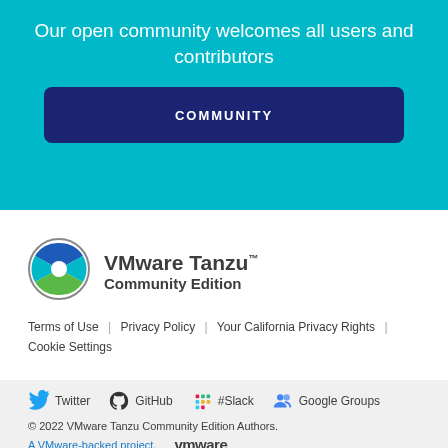Our open community welcomes all users and contributors
COMMUNITY
[Figure (logo): VMware Tanzu Community Edition logo with circular segmented icon]
VMware Tanzu™ Community Edition
Terms of Use | Privacy Policy | Your California Privacy Rights | Cookie Settings
[Figure (infographic): Social media links: Twitter, GitHub, #Slack, Google Groups with icons]
© 2022 VMware Tanzu Community Edition Authors. A VMware-backed project. VMware logo.